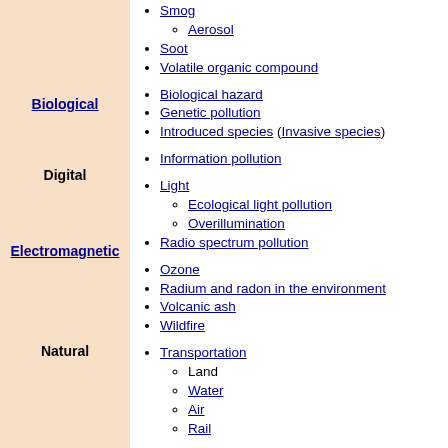Smog
Aerosol
Soot
Volatile organic compound
Biological hazard
Genetic pollution
Introduced species (Invasive species)
Information pollution
Light
Ecological light pollution
Overillumination
Radio spectrum pollution
Ozone
Radium and radon in the environment
Volcanic ash
Wildfire
Transportation
Land
Water
Air
Rail